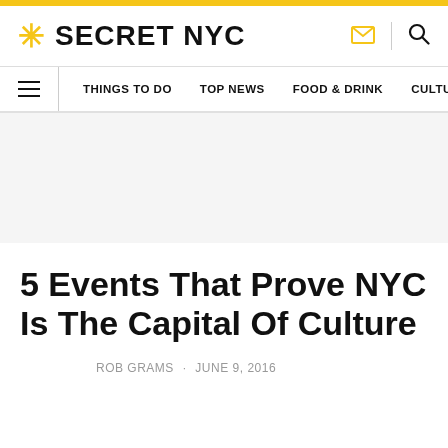SECRET NYC
THINGS TO DO · TOP NEWS · FOOD & DRINK · CULTURE
5 Events That Prove NYC Is The Capital Of Culture
ROB GRAMS · JUNE 9, 2016